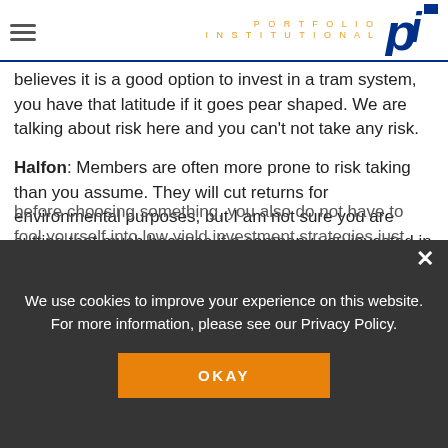PORTFOLIO INSTITUTIONAL
believes it is a good option to invest in a tram system, you have that latitude if it goes pear shaped. We are talking about risk here and you can't not take any risk.
Halfon: Members are often more prone to risk taking than you assume. They will cut returns for environmental purposes, but I am not sure you are cutting that much because if a company you invested in gets fined for something they have done wrong, they risk making you lose a lot more.
before choosing something, you also do not have to fool yourself into low yield investment strategies just because you've moved there. If you are earning 5% on a wind farm you might pay 10%, are you comfortable owning it because it looks like a low yielding
We use cookies to improve your experience on this website. For more information, please see our Privacy Policy.